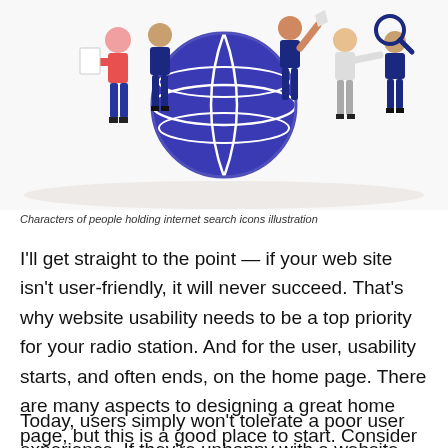[Figure (illustration): Illustration of cartoon characters of people holding internet search icons, with a large blue globe/world wide web icon in the center, on a light background.]
Characters of people holding internet search icons illustration
I'll get straight to the point — if your web site isn't user-friendly, it will never succeed. That's why website usability needs to be a top priority for your radio station. And for the user, usability starts, and often ends, on the home page. There are many aspects to designing a great home page, but this is a good place to start. Consider it Home Page 101.
Today, users simply won't tolerate a poor user experience. If they're unhappy with a website,